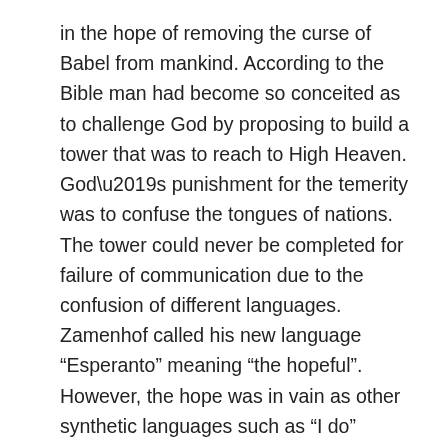in the hope of removing the curse of Babel from mankind. According to the Bible man had become so conceited as to challenge God by proposing to build a tower that was to reach to High Heaven. God’s punishment for the temerity was to confuse the tongues of nations. The tower could never be completed for failure of communication due to the confusion of different languages. Zamenhof called his new language “Esperanto” meaning “the hopeful”. However, the hope was in vain as other synthetic languages such as “I do” sprang up. The confusion of tongues, and the curse of Babel, has remained.